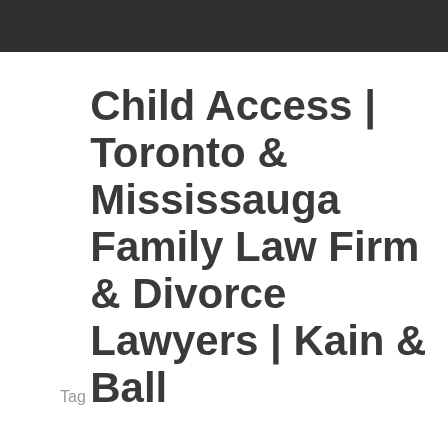Tag
Child Access | Toronto & Mississauga Family Law Firm & Divorce Lawyers | Kain & Ball